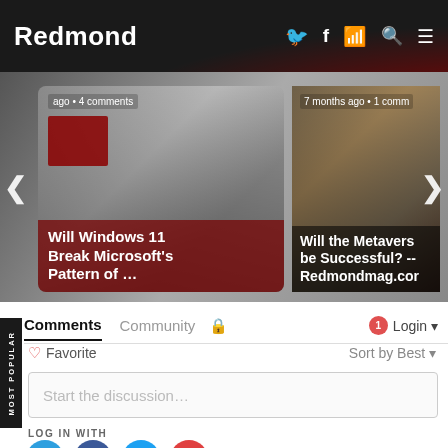Redmond
[Figure (screenshot): Article slider showing two article previews: 'Will Windows 11 Break Microsoft's Pattern of ...' and 'Will the Metaverse be Successful? -- Redmondmag.com', with left/right navigation arrows and metadata showing comment counts and time ago.]
Comments  Community  🔒  1  Login
♡ Favorite   Sort by Best ▾
Start the discussion…
LOG IN WITH